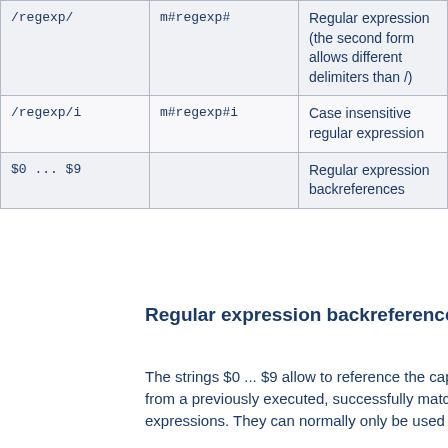| /regexp/ | m#regexp# | Regular expression (the second form allows different delimiters than /) |
| /regexp/i | m#regexp#i | Case insensitive regular expression |
| $0 ... $9 |  | Regular expression backreferences |
Regular expression backreferences
The strings $0 ... $9 allow to reference the capture groups from a previously executed, successfully matching regular expressions. They can normally only be used in the...